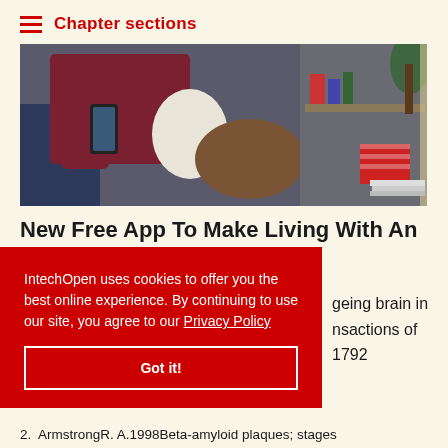Chapter sections
[Figure (photo): Person sitting and using a smartphone, wearing a white ostomy pouch, with shelves and plant in background]
New Free App To Make Living With An Ostomy Easier
Convatec
IntechOpen uses cookies to offer you the best online experience. By continuing to use our site, you agree to our Privacy Policy
Got it!
geing brain in nsactions of 1792
2. ArmstrongR. A.1998Beta-amyloid plaques; stages